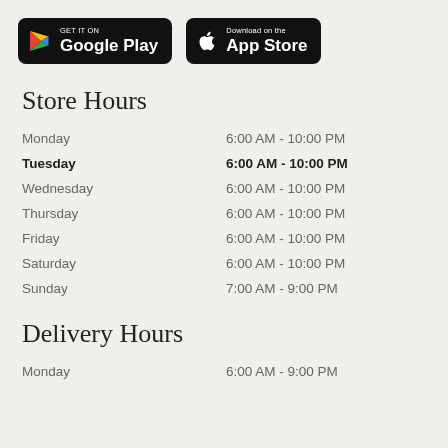[Figure (logo): GET IT ON Google Play badge (black rounded rectangle with Google Play triangle icon and text)]
[Figure (logo): Download on the App Store badge (black rounded rectangle with Apple logo and text)]
Store Hours
| Day | Hours |
| --- | --- |
| Monday | 6:00 AM - 10:00 PM |
| Tuesday | 6:00 AM - 10:00 PM |
| Wednesday | 6:00 AM - 10:00 PM |
| Thursday | 6:00 AM - 10:00 PM |
| Friday | 6:00 AM - 10:00 PM |
| Saturday | 6:00 AM - 10:00 PM |
| Sunday | 7:00 AM - 9:00 PM |
Delivery Hours
| Day | Hours |
| --- | --- |
| Monday | 6:00 AM - 9:00 PM |